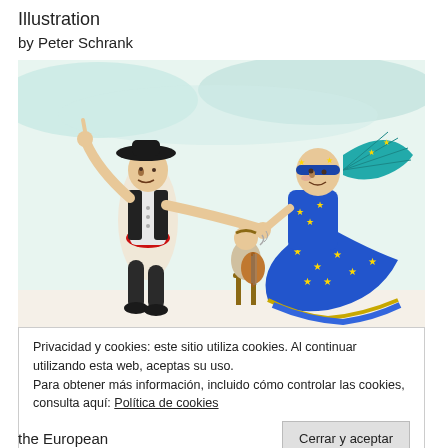Illustration
by Peter Schrank
[Figure (illustration): A cartoon/caricature illustration showing a Spanish flamenco dancer man in black hat, black vest and red sash, holding hands with a woman dressed in a blue EU-starred dress and holding a decorative fan, with a seated guitarist in the background. The scene parodies Spain and the European Union relationship.]
Privacidad y cookies: este sitio utiliza cookies. Al continuar utilizando esta web, aceptas su uso.
Para obtener más información, incluido cómo controlar las cookies, consulta aquí: Política de cookies
Cerrar y aceptar
the European